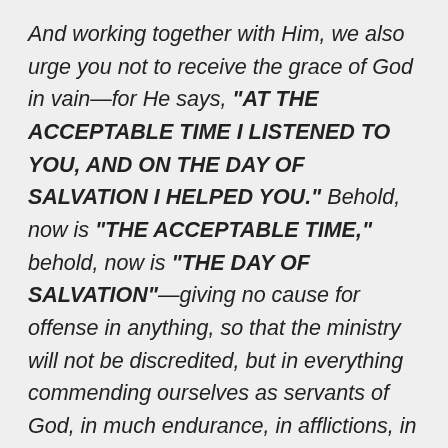And working together with Him, we also urge you not to receive the grace of God in vain—for He says, "AT THE ACCEPTABLE TIME I LISTENED TO YOU, AND ON THE DAY OF SALVATION I HELPED YOU." Behold, now is "THE ACCEPTABLE TIME," behold, now is "THE DAY OF SALVATION"—giving no cause for offense in anything, so that the ministry will not be discredited, but in everything commending ourselves as servants of God, in much endurance, in afflictions, in hardships, in distresses, in beatings, in imprisonments, in tumults, in labors, in sleeplessness, in hunger, in purity, in knowledge, in patience, in kindness, in the Holy Spirit, in genuine